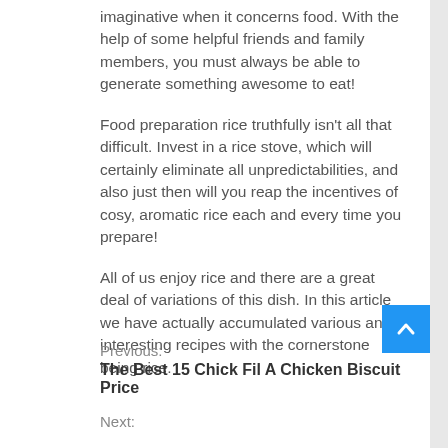imaginative when it concerns food. With the help of some helpful friends and family members, you must always be able to generate something awesome to eat!
Food preparation rice truthfully isn't all that difficult. Invest in a rice stove, which will certainly eliminate all unpredictabilities, and also just then will you reap the incentives of cosy, aromatic rice each and every time you prepare!
All of us enjoy rice and there are a great deal of variations of this dish. In this article we have actually accumulated various and interesting recipes with the cornerstone being rice.
Previous:
The Best 15 Chick Fil A Chicken Biscuit Price
Next: